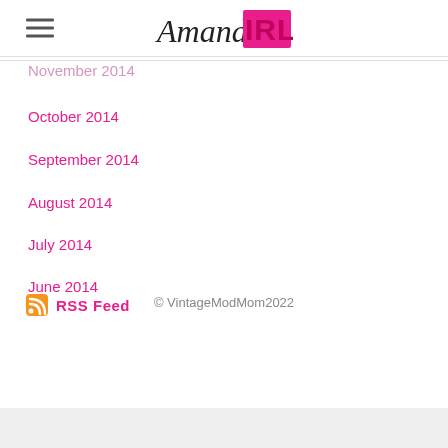Amanda IRL
November 2014
October 2014
September 2014
August 2014
July 2014
June 2014
RSS Feed
© VintageModMom2022